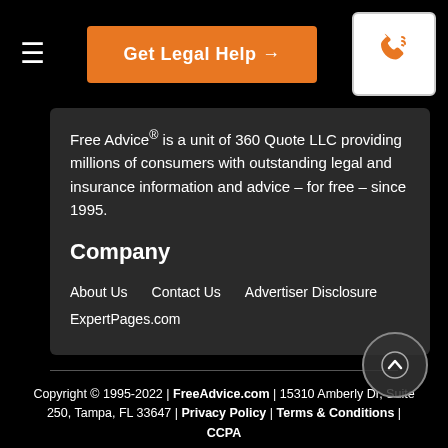≡  Get Legal Help →  [phone icon]
Free Advice® is a unit of 360 Quote LLC providing millions of consumers with outstanding legal and insurance information and advice – for free – since 1995.
Company
About Us
Contact Us
Advertiser Disclosure
ExpertPages.com
Copyright © 1995-2022 | FreeAdvice.com | 15310 Amberly Dr, Suite 250, Tampa, FL 33647 | Privacy Policy | Terms & Conditions | CCPA
Disclaimer: FreeAdvice.com strives to present reliable and up-to-date legal information and advice on home, car, and life insurance. Nothing on FreeAdvice.com constitutes legal advice and all content is provided for informational